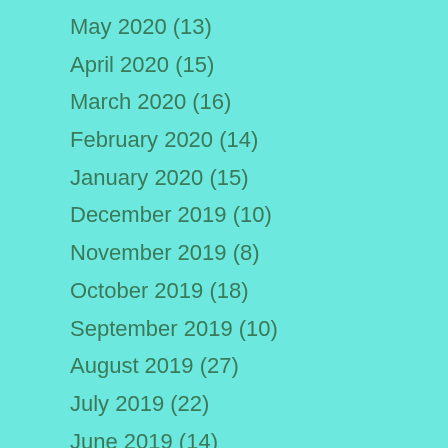May 2020 (13)
April 2020 (15)
March 2020 (16)
February 2020 (14)
January 2020 (15)
December 2019 (10)
November 2019 (8)
October 2019 (18)
September 2019 (10)
August 2019 (27)
July 2019 (22)
June 2019 (14)
May 2019 (14)
April 2019 (20)
March 2019 (18)
February 2019 (16)
January 2019 (16)
December 2019 (10)